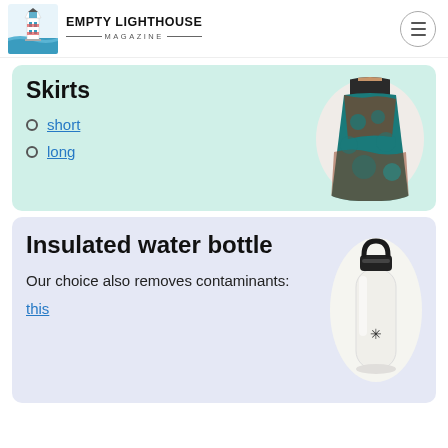EMPTY LIGHTHOUSE MAGAZINE
Skirts
short
long
[Figure (photo): Woman wearing a teal and brown patterned boho maxi skirt]
Insulated water bottle
Our choice also removes contaminants:
this
[Figure (photo): White insulated Hydro Flask style water bottle with black lid and handle]